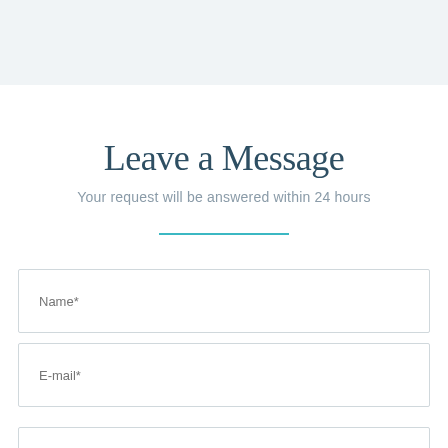Leave a Message
Your request will be answered within 24 hours